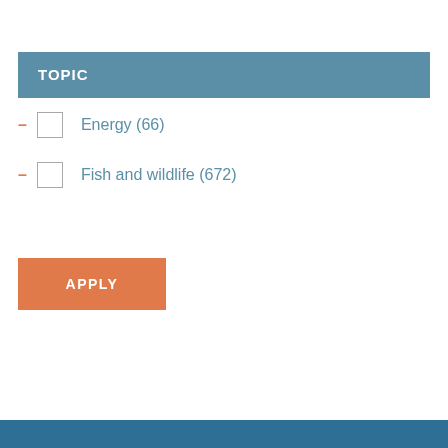TOPIC
Energy (66)
Fish and wildlife (672)
APPLY